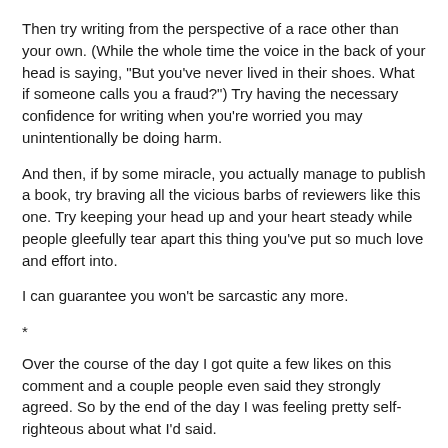Then try writing from the perspective of a race other than your own. (While the whole time the voice in the back of your head is saying, "But you've never lived in their shoes. What if someone calls you a fraud?") Try having the necessary confidence for writing when you're worried you may unintentionally be doing harm.
And then, if by some miracle, you actually manage to publish a book, try braving all the vicious barbs of reviewers like this one. Try keeping your head up and your heart steady while people gleefully tear apart this thing you've put so much love and effort into.
I can guarantee you won't be sarcastic any more.
*
Over the course of the day I got quite a few likes on this comment and a couple people even said they strongly agreed. So by the end of the day I was feeling pretty self-righteous about what I'd said.
But now that I've had a day to cool off and think and read some of the comments on the article, I'm starting to wonder why I really reacted the way I did and whether I was right.